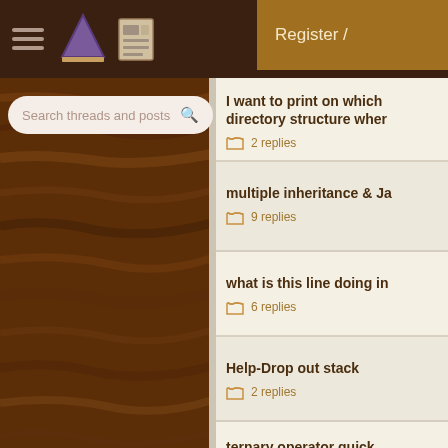Forum navigation header with hamburger menu, pie icon, list icon, and Register button
Search threads and posts
I want to print on which directory structure wher — 2 replies
multiple inheritance & Ja — 9 replies
what is this line doing in — 6 replies
Help-Drop out stack — 2 replies
ternary operator quick — (cut off)